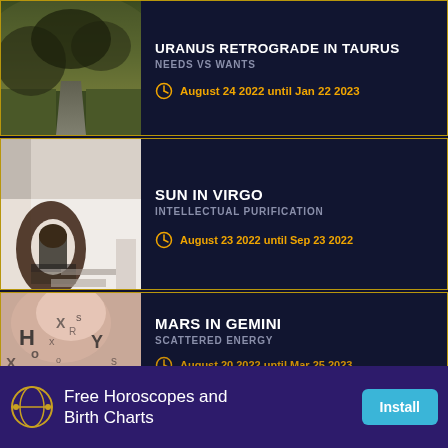URANUS RETROGRADE IN TAURUS
NEEDS VS WANTS
August 24 2022 until Jan 22 2023
SUN IN VIRGO
INTELLECTUAL PURIFICATION
August 23 2022 until Sep 23 2022
MARS IN GEMINI
SCATTERED ENERGY
August 20 2022 until Mar 25 2023
Free Horoscopes and Birth Charts
Install